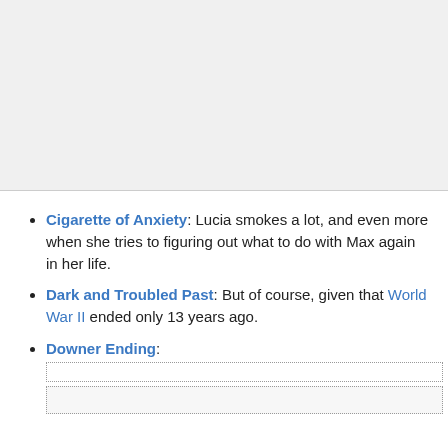[Figure (other): Gray blank area at top of page, likely an image placeholder or cropped image region.]
Cigarette of Anxiety: Lucia smokes a lot, and even more when she tries to figuring out what to do with Max again in her life.
Dark and Troubled Past: But of course, given that World War II ended only 13 years ago.
Downer Ending: [dotted input boxes]